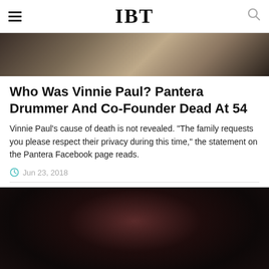IBT
[Figure (photo): Dark brownish blurred background photo, partially visible at top of page]
Who Was Vinnie Paul? Pantera Drummer And Co-Founder Dead At 54
Vinnie Paul's cause of death is not revealed. "The family requests you please respect their privacy during this time," the statement on the Pantera Facebook page reads.
Jun 23, 2018
[Figure (photo): Dark blurred photo, predominantly dark purple and black tones, partially visible at bottom of page]